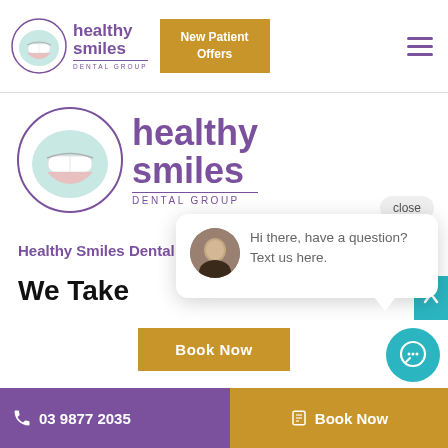[Figure (logo): Healthy Smiles Dental Group logo small in top navigation bar — circle with smile graphic and purple text]
New Patient Offers
[Figure (logo): Healthy Smiles Dental Group logo large — circle with smile graphic and purple text]
Healthy Smiles Dental Group
We Take
close
Hi there, have a question? Text us here.
Book Now
03 9877 2035   Book Now